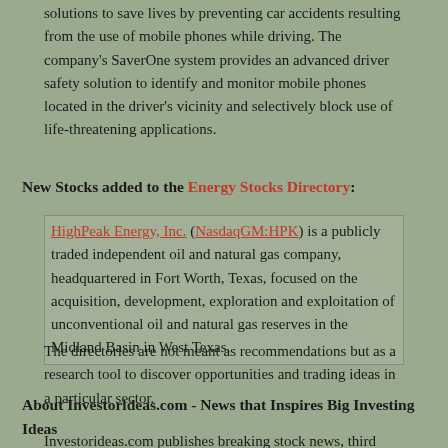solutions to save lives by preventing car accidents resulting from the use of mobile phones while driving. The company's SaverOne system provides an advanced driver safety solution to identify and monitor mobile phones located in the driver's vicinity and selectively block use of life-threatening applications.
New Stocks added to the Energy Stocks Directory:
HighPeak Energy, Inc. (NasdaqGM:HPK) is a publicly traded independent oil and natural gas company, headquartered in Fort Worth, Texas, focused on the acquisition, development, exploration and exploitation of unconventional oil and natural gas reserves in the Midland Basin in West Texas.
The directories are not meant as recommendations but as a research tool to discover opportunities and trading ideas in a particular sector.
About Investorideas.com - News that Inspires Big Investing Ideas
Investorideas.com publishes breaking stock news, third party stock research,